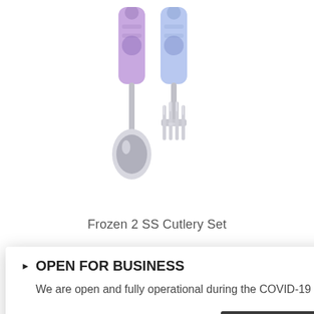[Figure (photo): Product photo of Frozen 2 SS Cutlery Set - a children's spoon and fork with purple handles featuring Frozen 2 character designs, stainless steel utensil ends]
Frozen 2 SS Cutlery Set
[Figure (screenshot): Modal popup overlay with dark close X button, heading 'OPEN FOR BUSINESS' with triangle arrow, body text 'We are open and fully operational during the COVID-19 crisis.', and a dark 'More Info' button. A teal button with heart icon is partially visible on the right.]